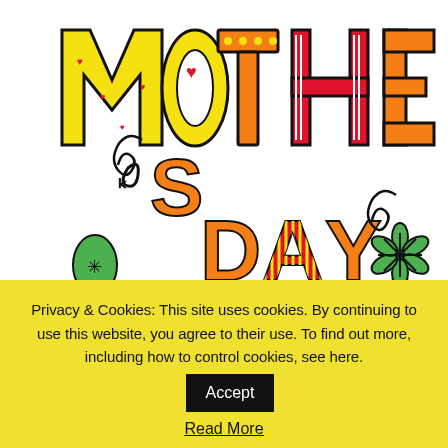[Figure (illustration): Colorful 'MOTHER'S DAY' text illustration with decorative letters in red, yellow, orange with patterns, green decorative flowers and spiral doodles on white background. Watermark text visible.]
MOTHER'S DAY
Happy Mother's Day
Privacy & Cookies: This site uses cookies. By continuing to use this website, you agree to their use. To find out more, including how to control cookies, see here. Accept
Read More